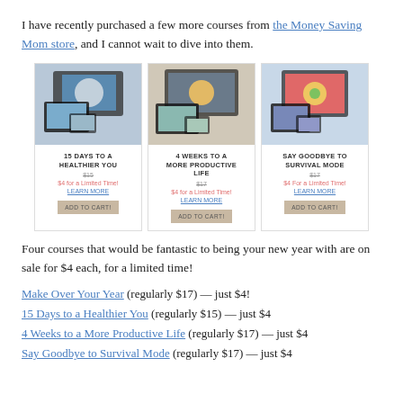I have recently purchased a few more courses from the Money Saving Mom store, and I cannot wait to dive into them.
[Figure (other): Three product cards side by side: '15 Days to a Healthier You', '4 Weeks to a More Productive Life', 'Say Goodbye to Survival Mode' — each with a product image, price, sale price, learn more link, and Add to Cart button.]
Four courses that would be fantastic to being your new year with are on sale for $4 each, for a limited time!
Make Over Your Year (regularly $17) — just $4!
15 Days to a Healthier You (regularly $15) — just $4
4 Weeks to a More Productive Life (regularly $17) — just $4
Say Goodbye to Survival Mode (regularly $17) — just $4